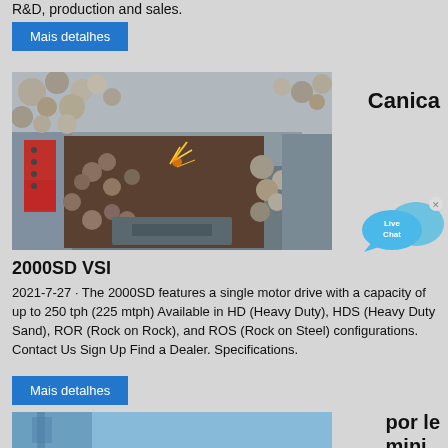R&D, production and sales.
Mais detalhes
[Figure (photo): Cross-section cutaway of a VSI (Vertical Shaft Impactor) crusher showing rocks/stones being processed inside the machine with red feed tube and grey steel housing]
Canica
[Figure (infographic): Live Chat speech bubble icon in blue with an X close button]
2000SD VSI
2021-7-27 · The 2000SD features a single motor drive with a capacity of up to 250 tph (225 mtph) Available in HD (Heavy Duty), HDS (Heavy Duty Sand), ROR (Rock on Rock), and ROS (Rock on Steel) configurations. Contact Us Sign Up Find a Dealer. Specifications.
Mais detalhes
[Figure (photo): Partial view of industrial equipment or tower structure against blue sky]
por le mini